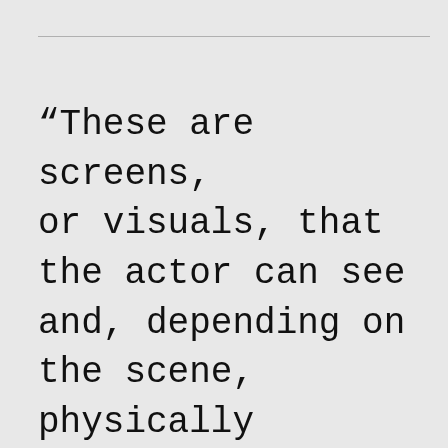“These are screens, or visuals, that the actor can see and, depending on the scene, physically interact with during a